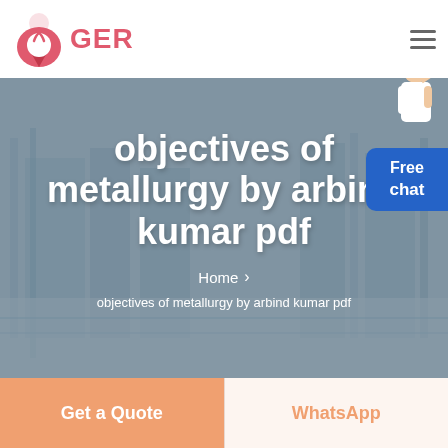GER
objectives of metallurgy by arbind kumar pdf
Home > objectives of metallurgy by arbind kumar pdf
[Figure (screenshot): Website hero banner with industrial background showing a page for 'objectives of metallurgy by arbind kumar pdf' with a Free chat widget and advisor image]
Get a Quote
WhatsApp